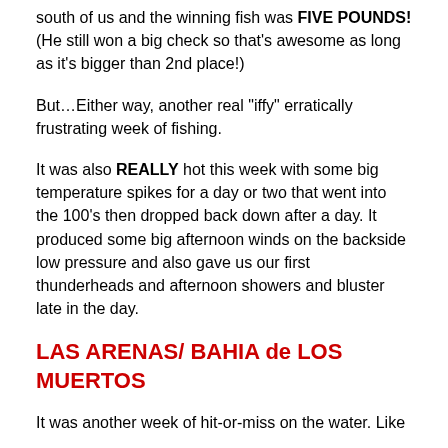south of us and the winning fish was FIVE POUNDS!  (He still won a big check so that's awesome as long as it's bigger than 2nd place!)
But…Either way, another real “iffy” erratically frustrating week of fishing.
It was also REALLY hot this week with some big temperature spikes for a day or two that went into the 100's then dropped back down after a day.  It produced some big afternoon winds on the backside low pressure and also gave us our first thunderheads and afternoon showers and bluster late in the day.
LAS ARENAS/ BAHIA de LOS MUERTOS
It was another week of hit-or-miss on the water.  Like